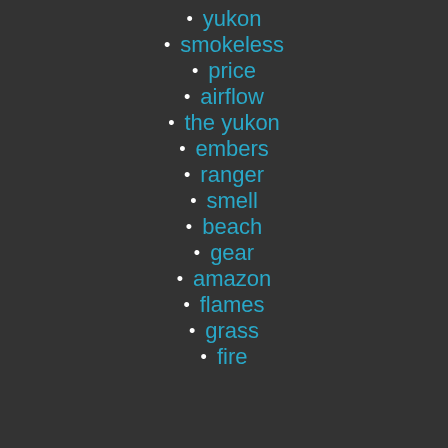yukon
smokeless
price
airflow
the yukon
embers
ranger
smell
beach
gear
amazon
flames
grass
fire